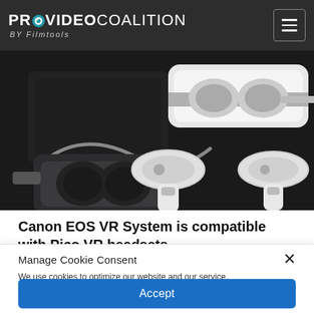PROVIDEO COALITION BY Filmtools
[Figure (photo): VR headsets and controllers product photo — showing a dark camera equipment tray background, a black VR headset on the lower left, a white VR headset on the upper right, and two white VR motion controllers in the center and right.]
Canon EOS VR System is compatible with Pico VR headsets
Manage Cookie Consent
We use cookies to optimize our website and our service.
Accept